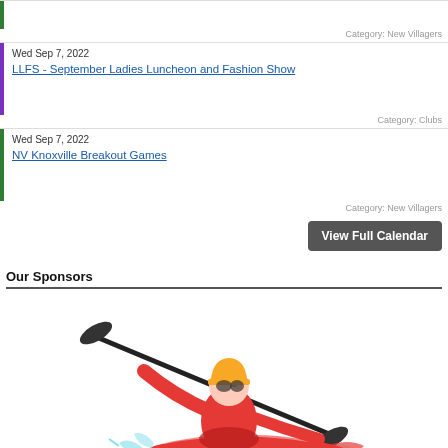Category: New Villagers
Wed Sep 7, 2022
LLFS - September Ladies Luncheon and Fashion Show
Category: Clubs
Wed Sep 7, 2022
NV Knoxville Breakout Games
Category: New Villagers
View Full Calendar
Our Sponsors
[Figure (illustration): Illustration of a kayaker in red outfit with yellow helmet paddling through water]